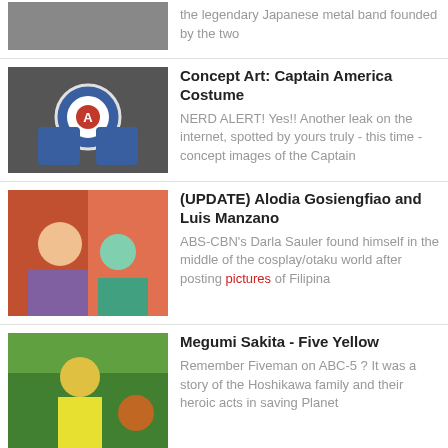the legendary Japanese metal band founded by the two
Concept Art: Captain America Costume
NERD ALERT! Yes!! Another leak on the internet, spotted by yours truly - this time - concept images of the Captain
(UPDATE) Alodia Gosiengfiao and Luis Manzano
ABS-CBN's Darla Sauler found himself in the middle of the cosplay/otaku world after posting pictures of Filipina
Megumi Sakita - Five Yellow
Remember Fiveman on ABC-5 ? It was a story of the Hoshikawa family and their heroic acts in saving Planet
ASUS Brings Back the World GameMaster Tournament
Manila, Philippines – Filipino gamers will surely start to practices once again as the World GameMaster
Takakazu Abe's Dakimakura with a Bulge